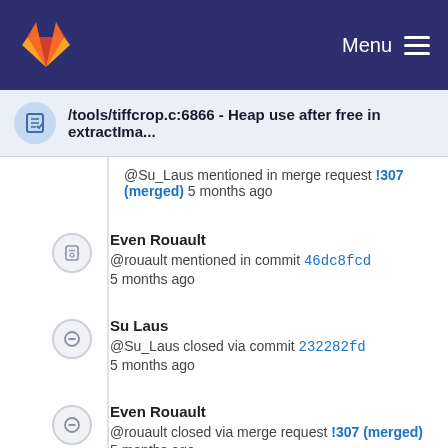Menu
/tools/tiffcrop.c:6866 - Heap use after free in extractIma...
@Su_Laus mentioned in merge request !307 (merged) 5 months ago
Even Rouault
@rouault mentioned in commit 46dc8fcd
5 months ago
Su Laus
@Su_Laus closed via commit 232282fd
5 months ago
Even Rouault
@rouault closed via merge request !307 (merged)
5 months ago